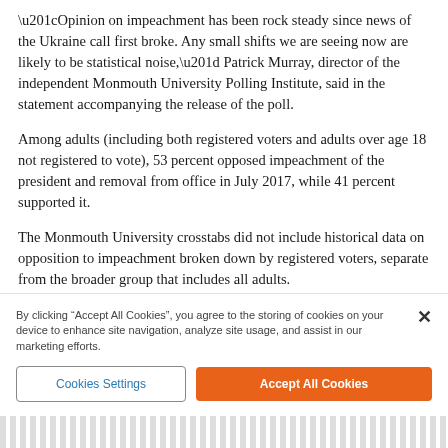“Opinion on impeachment has been rock steady since news of the Ukraine call first broke. Any small shifts we are seeing now are likely to be statistical noise,” Patrick Murray, director of the independent Monmouth University Polling Institute, said in the statement accompanying the release of the poll.
Among adults (including both registered voters and adults over age 18 not registered to vote), 53 percent opposed impeachment of the president and removal from office in July 2017, while 41 percent supported it.
The Monmouth University crosstabs did not include historical data on opposition to impeachment broken down by registered voters, separate from the broader group that includes all adults.
Notably, the Opinion Polls showed President Trump trailing...
By clicking “Accept All Cookies”, you agree to the storing of cookies on your device to enhance site navigation, analyze site usage, and assist in our marketing efforts.
Cookies Settings
Accept All Cookies